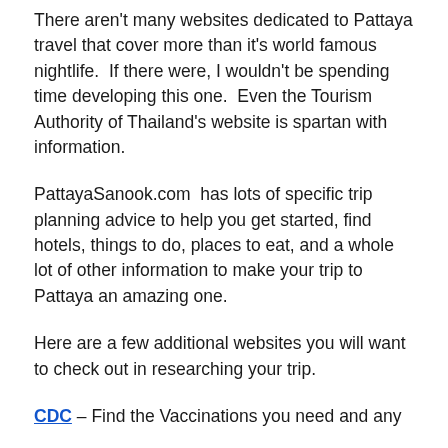There aren't many websites dedicated to Pattaya travel that cover more than it's world famous nightlife.  If there were, I wouldn't be spending time developing this one.  Even the Tourism Authority of Thailand's website is spartan with information.
PattayaSanook.com  has lots of specific trip planning advice to help you get started, find hotels, things to do, places to eat, and a whole lot of other information to make your trip to Pattaya an amazing one.
Here are a few additional websites you will want to check out in researching your trip.
CDC – Find the Vaccinations you need and any